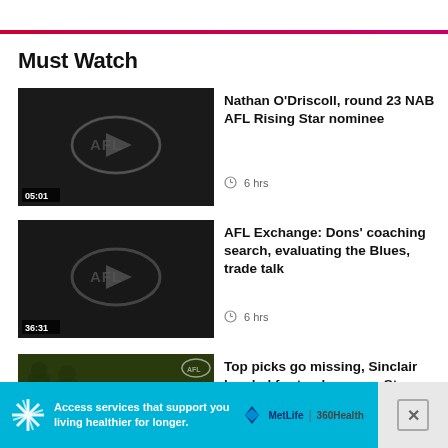Must Watch
[Figure (screenshot): Video thumbnail with AFL logo play button, duration 05:01]
Nathan O'Driscoll, round 23 NAB AFL Rising Star nominee
6 hrs
[Figure (screenshot): Video thumbnail with AFL logo play button, duration 36:31]
AFL Exchange: Dons' coaching search, evaluating the Blues, trade talk
6 hrs
[Figure (screenshot): Video thumbnail showing people, AFL logo in corner, partially visible]
Top picks go missing, Sinclair headed for top honours: St
[Figure (other): MetLife 360Health advertisement banner with blue background and star logo]